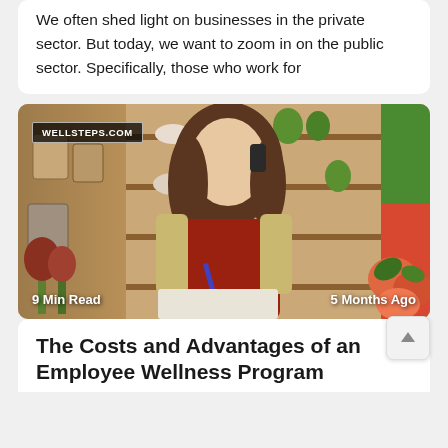We often shed light on businesses in the private sector. But today, we want to zoom in on the public sector. Specifically, those who work for
[Figure (photo): A smiling young woman with long brown hair wearing a red apron over a plaid shirt, holding a phone and writing, standing in what appears to be a flower/gift shop with wooden shelves in the background. A 'WELLSTEPS.COM' badge is visible in the upper left. Bottom left reads '9 Min Read' and bottom right reads '5 Months Ago'.]
The Costs and Advantages of an Employee Wellness Program